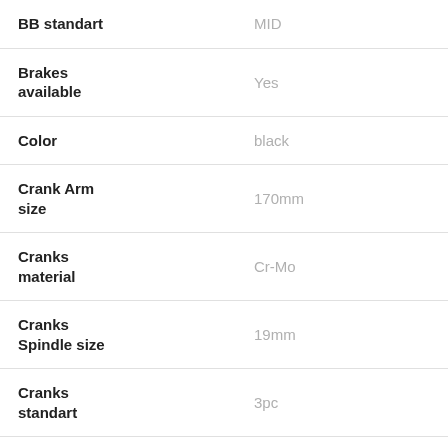| Attribute | Value |
| --- | --- |
| BB standart | MID |
| Brakes available | Yes |
| Color | black |
| Crank Arm size | 170mm |
| Cranks material | Cr-Mo |
| Cranks Spindle size | 19mm |
| Cranks standart | 3pc |
| Drive side | RHD |
| Fork material | Full Hi-ten |